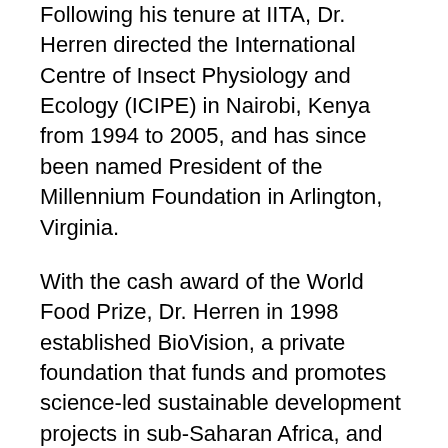Following his tenure at IITA, Dr. Herren directed the International Centre of Insect Physiology and Ecology (ICIPE) in Nairobi, Kenya from 1994 to 2005, and has since been named President of the Millennium Foundation in Arlington, Virginia.
With the cash award of the World Food Prize, Dr. Herren in 1998 established BioVision, a private foundation that funds and promotes science-led sustainable development projects in sub-Saharan Africa, and continues to serve as the foundation's chairman. Additionally, he is co-chair of the International Assessment of Agricultural Knowledge, Science, and Technology and president of the International Association of the Plant Protection Sciences. He remains a leading proponent for the development of biological controls and other ecologically sound management methods throughout Africa